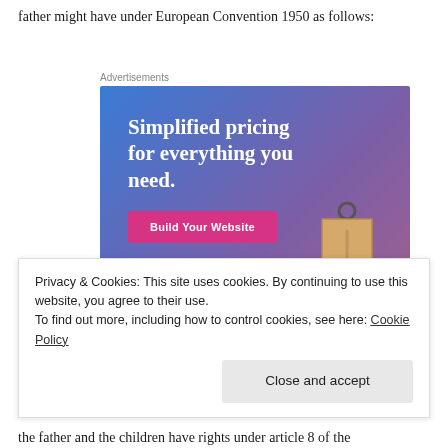father might have under European Convention 1950 as follows:
[Figure (screenshot): Advertisement banner for a website builder service. Blue-to-purple gradient background. Text: 'Simplified pricing for everything you need.' with a pink 'Build Your Website' button and a tan price tag graphic.]
Privacy & Cookies: This site uses cookies. By continuing to use this website, you agree to their use.
To find out more, including how to control cookies, see here: Cookie Policy
the father and the children have rights under article 8 of the